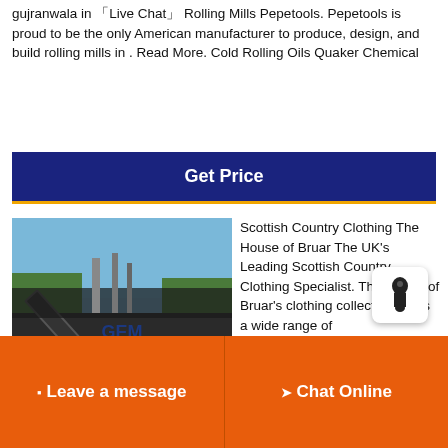gujranwala in 「Live Chat」 Rolling Mills Pepetools. Pepetools is proud to be the only American manufacturer to produce, design, and build rolling mills in . Read More. Cold Rolling Oils Quaker Chemical
[Figure (other): Button labeled 'Get Price' with dark navy background and gold bottom border]
[Figure (photo): Photo of industrial conveyor belt machinery at a mining or quarry site, with a GEM Machinery logo/watermark visible]
Scottish Country Clothing The House of Bruar The UK's Leading Scottish Country Clothing Specialist. The House of Bruar's clothing collection offers a wide range of highquality items that all share a distinct sense of rfi... rural style. From timehonoured tweeds to highperform... modern outdoorswear that can handle the worst excesses
Leave a message   Chat Online